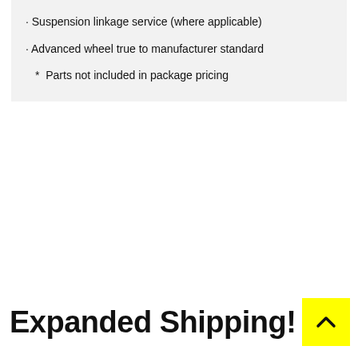· Suspension linkage service (where applicable)
· Advanced wheel true to manufacturer standard
* Parts not included in package pricing
Expanded Shipping!